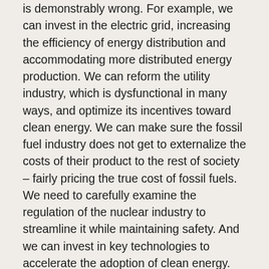is demonstrably wrong. For example, we can invest in the electric grid, increasing the efficiency of energy distribution and accommodating more distributed energy production. We can reform the utility industry, which is dysfunctional in many ways, and optimize its incentives toward clean energy. We can make sure the fossil fuel industry does not get to externalize the costs of their product to the rest of society – fairly pricing the true cost of fossil fuels. We need to carefully examine the regulation of the nuclear industry to streamline it while maintaining safety. And we can invest in key technologies to accelerate the adoption of clean energy.
We could, of course, bungle the clean energy transition. It won't help our energy independence if we build a new infrastructure dependent on raw materials that are currently monopolized by China. We